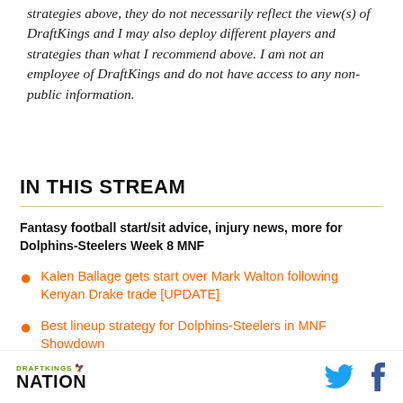strategies above, they do not necessarily reflect the view(s) of DraftKings and I may also deploy different players and strategies than what I recommend above. I am not an employee of DraftKings and do not have access to any non-public information.
IN THIS STREAM
Fantasy football start/sit advice, injury news, more for Dolphins-Steelers Week 8 MNF
Kalen Ballage gets start over Mark Walton following Kenyan Drake trade [UPDATE]
Best lineup strategy for Dolphins-Steelers in MNF Showdown
DRAFTKINGS NATION